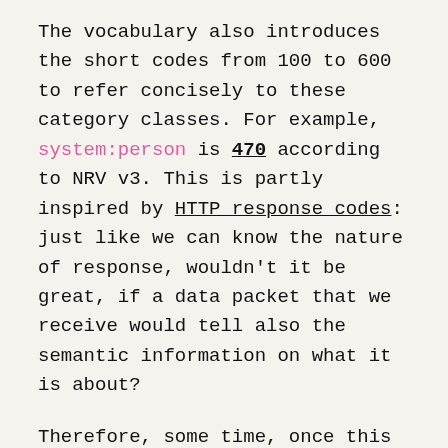The vocabulary also introduces the short codes from 100 to 600 to refer concisely to these category classes. For example, system:person is 470 according to NRV v3. This is partly inspired by HTTP response codes: just like we can know the nature of response, wouldn't it be great, if a data packet that we receive would tell also the semantic information on what it is about?
Therefore, some time, once this vocabulary matures, this may make sense to introduce it as an RFC for a standard for semantic labeling of "data packets as records".
NOTE: Both the project Ooo, and the NRV are